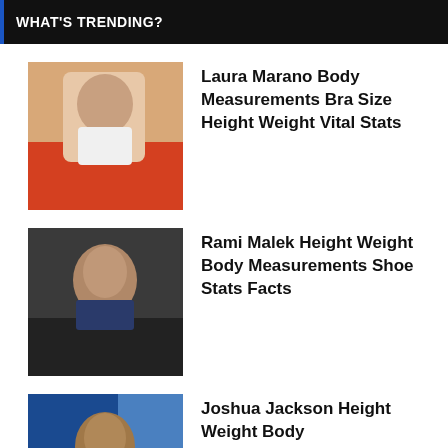WHAT'S TRENDING?
Laura Marano Body Measurements Bra Size Height Weight Vital Stats
Rami Malek Height Weight Body Measurements Shoe Stats Facts
Joshua Jackson Height Weight Body Measurements Vital Stats Facts Bio
PewDiePie Height Weight Body Measurements Shoe Size Fact Family Bio